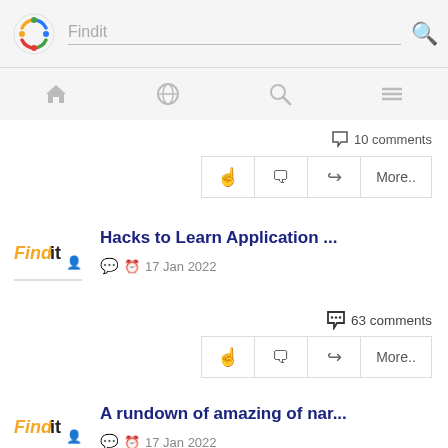Findit [search bar with magnifying glass icon]
[Figure (screenshot): Navigation bar with home, globe, search, and menu icons]
10 comments
Action buttons: like, comment, share, More..
Hacks to Learn Application ...
17 Jan 2022
63 comments
Action buttons: like, comment, share, More..
A rundown of amazing of nar...
17 Jan 2022
9 comments